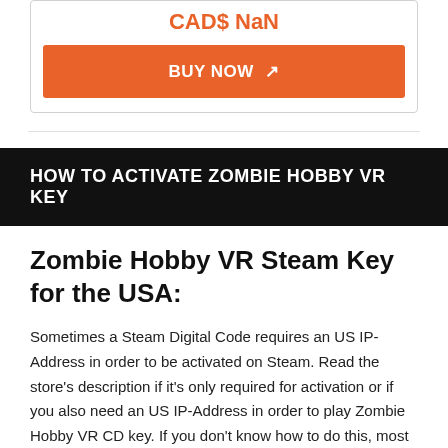CAD$ NaN
BUY NOW ↗
HOW TO ACTIVATE ZOMBIE HOBBY VR KEY
Zombie Hobby VR Steam Key for the USA:
Sometimes a Steam Digital Code requires an US IP-Address in order to be activated on Steam. Read the store's description if it's only required for activation or if you also need an US IP-Address in order to play Zombie Hobby VR CD key. If you don't know how to do this, most stores offer help or a tutorial.